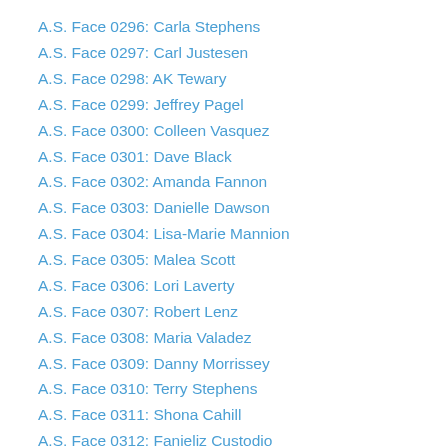A.S. Face 0296: Carla Stephens
A.S. Face 0297: Carl Justesen
A.S. Face 0298: AK Tewary
A.S. Face 0299: Jeffrey Pagel
A.S. Face 0300: Colleen Vasquez
A.S. Face 0301: Dave Black
A.S. Face 0302: Amanda Fannon
A.S. Face 0303: Danielle Dawson
A.S. Face 0304: Lisa-Marie Mannion
A.S. Face 0305: Malea Scott
A.S. Face 0306: Lori Laverty
A.S. Face 0307: Robert Lenz
A.S. Face 0308: Maria Valadez
A.S. Face 0309: Danny Morrissey
A.S. Face 0310: Terry Stephens
A.S. Face 0311: Shona Cahill
A.S. Face 0312: Fanieliz Custodio
A.S. Face 0313: Lisa Slaydon
A.S. Face 0314: Brandon Snow
A.S. Face 0315: Ange Felu